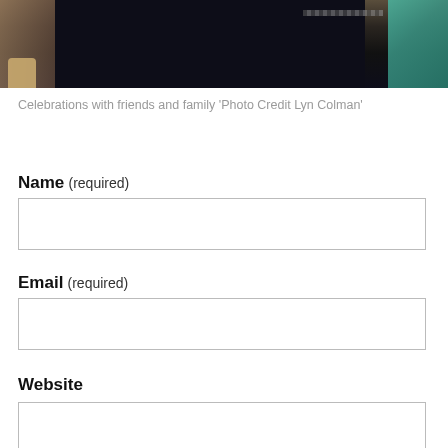[Figure (photo): Bottom portion of a photo showing people at a celebration. Visible are dark trousers/clothing in the center, a teal/turquoise dress on the right, light-colored shoes on the left, and what appears to be an indoor venue with a striped railing in the background.]
Celebrations with friends and family ‘Photo Credit Lyn Colman’
Name (required)
Email (required)
Website